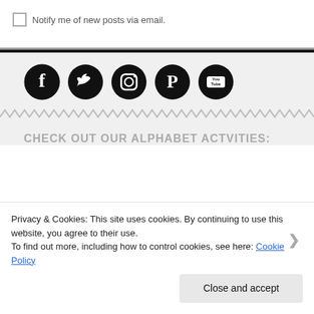Notify me of new posts via email.
[Figure (illustration): Five social media icons in black circles: Facebook, Twitter, Instagram, Pinterest, YouTube]
CHECK OUT OUR ALPHABET ACTVITIES:
Privacy & Cookies: This site uses cookies. By continuing to use this website, you agree to their use. To find out more, including how to control cookies, see here: Cookie Policy
Close and accept